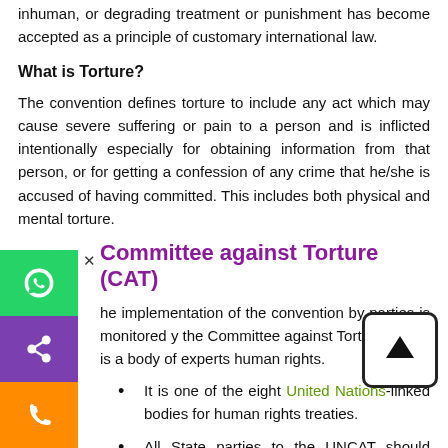inhuman, or degrading treatment or punishment has become accepted as a principle of customary international law.
What is Torture?
The convention defines torture to include any act which may cause severe suffering or pain to a person and is inflicted intentionally especially for obtaining information from that person, or for getting a confession of any crime that he/she is accused of having committed. This includes both physical and mental torture.
Committee against Torture (CAT)
The implementation of the convention by parties is monitored by the Committee against Torture, which is a body of experts human rights.
It is one of the eight United Nations-linked bodies for human rights treaties.
All State parties to the UNCAT should regularly submit reports to the Committee on how they are implementing rights.